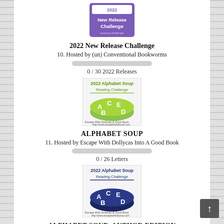[Figure (illustration): 2022 New Release Challenge badge with purple background and white/purple text]
2022 New Release Challenge
10. Hosted by (un) Conventional Bookworms
[Figure (infographic): Progress bar showing 0 of 30 completed]
0 / 30 2022 Releases
[Figure (illustration): 2022 Alphabet Soup Reading Challenge logo with green bowl and letters A, B, C, D, E]
ALPHABET SOUP
11. Hosted by Escape With Dollycas Into A Good Book
[Figure (infographic): Progress bar showing 0 of 26 completed]
0 / 26 Letters
[Figure (illustration): 2022 Alphabet Soup Reading Challenge logo with dark blue/navy bowl and letters A, B, C, D, E]
ALPHABET SOUP~AUTHOR EDITION